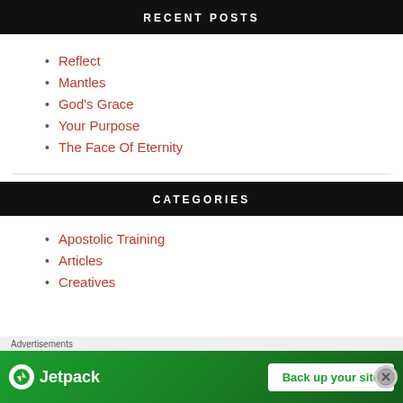RECENT POSTS
Reflect
Mantles
God's Grace
Your Purpose
The Face Of Eternity
CATEGORIES
Apostolic Training
Articles
Creatives
Advertisements
[Figure (screenshot): Jetpack advertisement banner with 'Back up your site' button on green background]